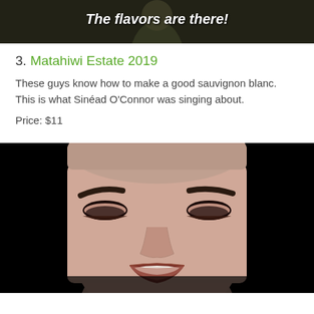[Figure (photo): A person wearing a dark olive/green top, partially visible from shoulders up, with italic bold white text overlay reading 'The flavors are there!']
3. Matahiwi Estate 2019
These guys know how to make a good sauvignon blanc. This is what Sinéad O'Connor was singing about.
Price: $11
[Figure (photo): Close-up photo of Sinéad O'Connor singing, with shaved head, heavy eye makeup, mouth open, against a black background]